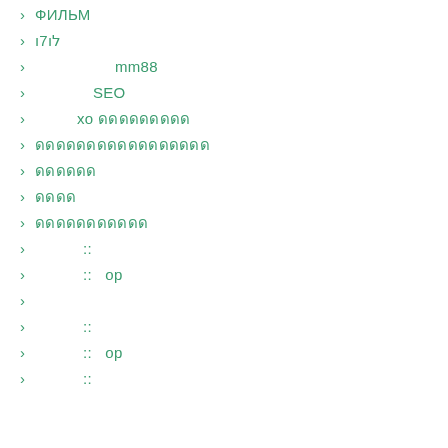> ФИЛЬМ
> לו7ו
>                mm88
>             SEO
>           xo ดดดดดดดดด
> ดดดดดดดดดดดดดดดดด
> ดดดดดด
> ดดดด
> ดดดดดดดดดดด
>          ::
>          ::   op
>
>          ::
>          ::   op
>          ::